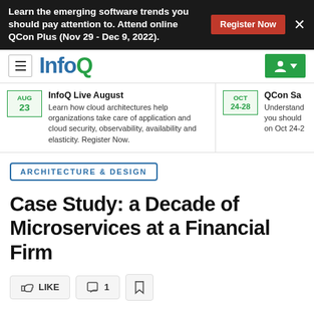Learn the emerging software trends you should pay attention to. Attend online QCon Plus (Nov 29 - Dec 9, 2022).
[Figure (logo): InfoQ logo with hamburger menu and user account button]
InfoQ Live August
Learn how cloud architectures help organizations take care of application and cloud security, observability, availability and elasticity. Register Now.
AUG 23
QCon Sa
Understand you should on Oct 24-2
OCT 24-28
ARCHITECTURE & DESIGN
Case Study: a Decade of Microservices at a Financial Firm
LIKE  1
MAY 21, 2021 • 19 MIN READ
by